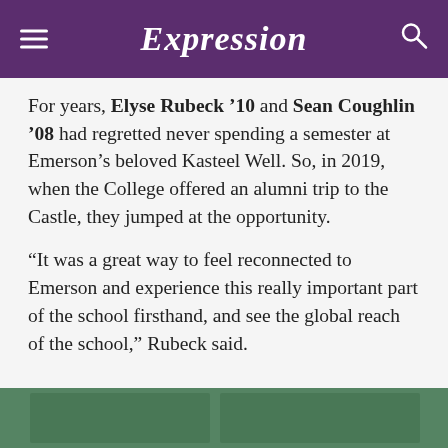Expression
For years, Elyse Rubeck '10 and Sean Coughlin '08 had regretted never spending a semester at Emerson's beloved Kasteel Well. So, in 2019, when the College offered an alumni trip to the Castle, they jumped at the opportunity.
“It was a great way to feel reconnected to Emerson and experience this really important part of the school firsthand, and see the global reach of the school,” Rubeck said.
[Figure (photo): Photo strip at the bottom showing people at Kasteel Well castle]